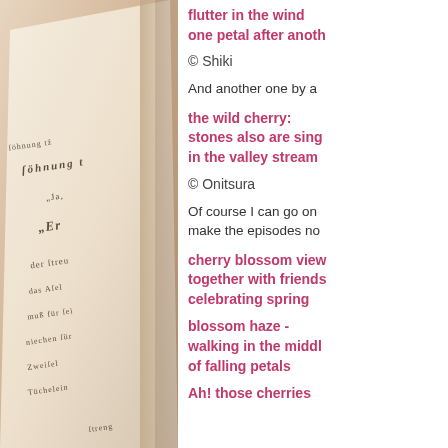[Figure (photo): Close-up of an old book page showing gothic/blackletter German text, angled perspective, sepia tones.]
flutter in the wind
one petal after anoth
© Shiki
And another one by a
the wild cherry:
stones also are sing
in the valley stream
© Onitsura
Of course I can go on
make the episodes no
cherry blossom view
together with friends
celebrating spring
blossom haze -
walking in the middl
of falling petals
Ah! those cherries